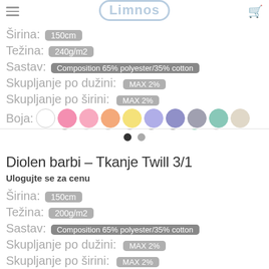Limnos
Širina: 150cm
Težina: 240g/m2
Sastav: Composition 65% polyester/35% cotton
Skupljanje po dužini: MAX 2%
Skupljanje po širini: MAX 2%
Boja: [color swatches]
Diolen barbi – Tkanje Twill 3/1
Ulogujte se za cenu
Širina: 150cm
Težina: 200g/m2
Sastav: Composition 65% polyester/35% cotton
Skupljanje po dužini: MAX 2%
Skupljanje po širini: MAX 2%